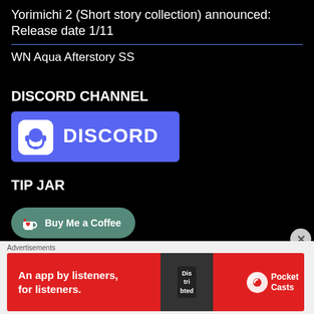Yorimichi 2 (Short story collection) announced: Release date 1/11
WN Aqua Afterstory SS
DISCORD CHANNEL
[Figure (logo): Discord logo badge with purple/indigo background, white Discord icon and wordmark 'DISCORD']
TIP JAR
[Figure (logo): Buy Me a Coffee button with teal/green rounded pill shape, coffee cup icon, text 'Buy Me a Coffee']
Advertisements
[Figure (infographic): Pocket Casts advertisement banner: red background, text 'An app by listeners, for listeners.' with Pocket Casts logo and phone image showing 'Distributed']